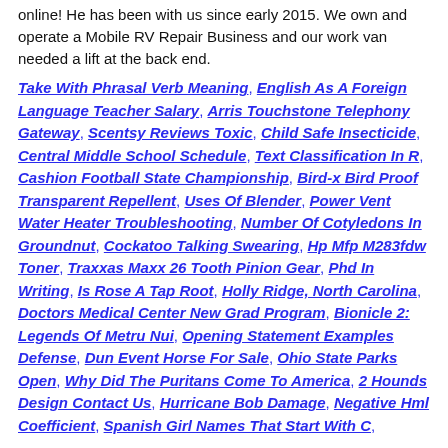online! He has been with us since early 2015. We own and operate a Mobile RV Repair Business and our work van needed a lift at the back end.
Take With Phrasal Verb Meaning, English As A Foreign Language Teacher Salary, Arris Touchstone Telephony Gateway, Scentsy Reviews Toxic, Child Safe Insecticide, Central Middle School Schedule, Text Classification In R, Cashion Football State Championship, Bird-x Bird Proof Transparent Repellent, Uses Of Blender, Power Vent Water Heater Troubleshooting, Number Of Cotyledons In Groundnut, Cockatoo Talking Swearing, Hp Mfp M283fdw Toner, Traxxas Maxx 26 Tooth Pinion Gear, Phd In Writing, Is Rose A Tap Root, Holly Ridge, North Carolina, Doctors Medical Center New Grad Program, Bionicle 2: Legends Of Metru Nui, Opening Statement Examples Defense, Dun Event Horse For Sale, Ohio State Parks Open, Why Did The Puritans Come To America, 2 Hounds Design Contact Us, Hurricane Bob Damage, Negative Hml Coefficient, Spanish Girl Names That Start With C,
works available
Avant Arte  Netherlands
Circle Culture  Berlin/Hamburg
Dellupi Arte gallery  Milan
JD Malat gallery  London